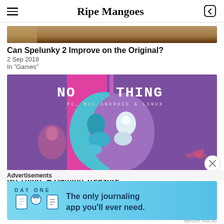Ripe Mangoes
Can Spelunky 2 Improve on the Original?
2 Sep 2018
In "Games"
[Figure (illustration): NO THING game artwork showing a split face illustration in teal/blue and purple colors with bold text 'NO THING' at top, subtitle 'PC, MAC, ANDROID & LINUX']
No Thing: A Gaming Treasure
Advertisements
[Figure (screenshot): DAY ONE journaling app advertisement banner. Blue background with DAY ONE text and icons, tagline: The only journaling app you'll ever need.]